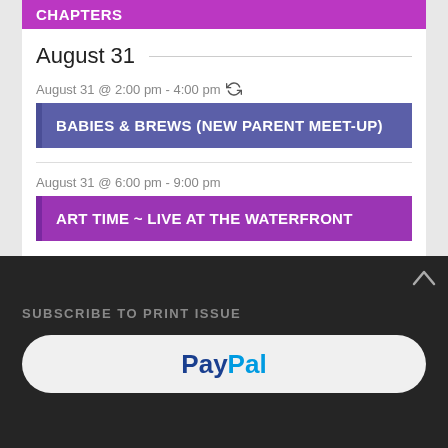CHAPTERS
August 31
August 31 @ 2:00 pm - 4:00 pm
BABIES & BREWS (NEW PARENT MEET-UP)
August 31 @ 6:00 pm - 9:00 pm
ART TIME ~ LIVE AT THE WATERFRONT
View Calendar
SUBSCRIBE TO PRINT ISSUE
[Figure (logo): PayPal payment button with blue PayPal logo on light grey rounded rectangle background]